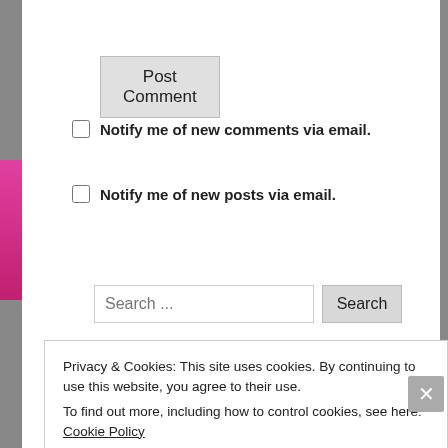Post Comment
Notify me of new comments via email.
Notify me of new posts via email.
Search ...
Privacy & Cookies: This site uses cookies. By continuing to use this website, you agree to their use. To find out more, including how to control cookies, see here: Cookie Policy
Close and accept